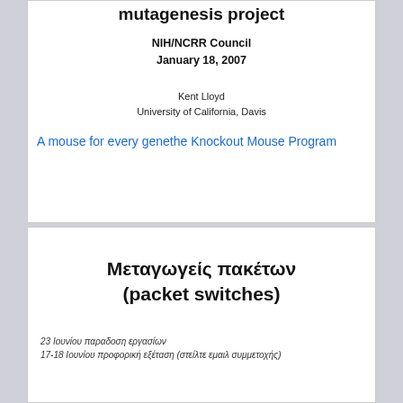mutagenesis project
NIH/NCRR Council
January 18, 2007
Kent Lloyd
University of California, Davis
A mouse for every genethe Knockout Mouse Program
Μεταγωγείς πακέτων
(packet switches)
23 Ιουνίου παραδοση εργασίων
17-18 Ιουνίου προφορική εξέταση (στείλτε εμαιλ συμμετοχής)